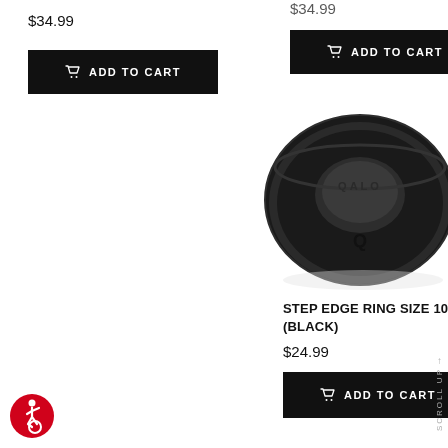$34.99
$34.99 (cropped)
ADD TO CART
ADD TO CART
[Figure (photo): Black silicone QALO step edge ring, viewed from slight angle showing the stepped edge design and QALO logo on the inner band]
STEP EDGE RING SIZE 10 (BLACK)
$24.99
ADD TO CART
SCROLL UP
[Figure (logo): Red accessibility icon (wheelchair user symbol in circle)]